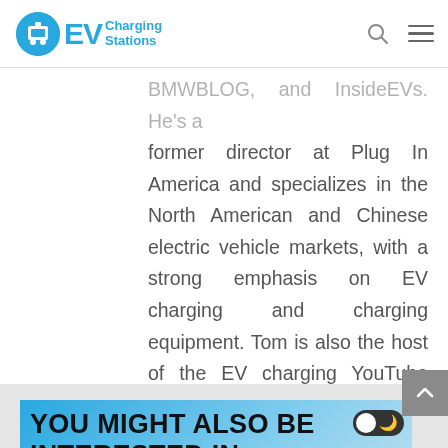EV Charging Stations
BMWBLOG, and InsideEVs. He's a former director at Plug In America and specializes in the North American and Chinese electric vehicle markets, with a strong emphasis on EV charging and charging equipment. Tom is also the host of the EV charging YouTube channel, State of Charge.
YOU MIGHT ALSO BE INTERESTED IN: